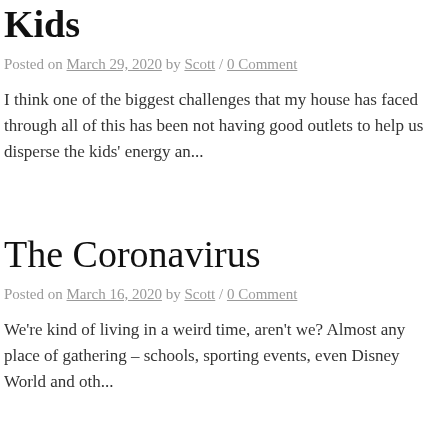Kids
Posted on March 29, 2020 by Scott / 0 Comment
I think one of the biggest challenges that my house has faced through all of this has been not having good outlets to help us disperse the kids' energy an...
The Coronavirus
Posted on March 16, 2020 by Scott / 0 Comment
We're kind of living in a weird time, aren't we? Almost any place of gathering – schools, sporting events, even Disney World and oth...